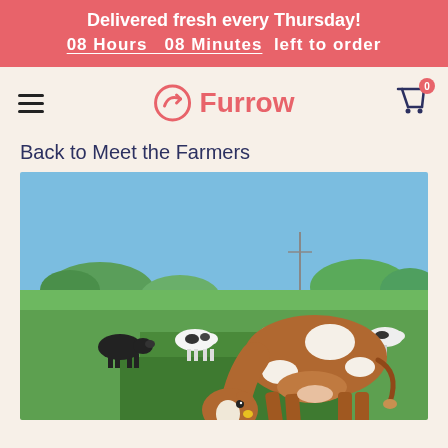Delivered fresh every Thursday! 08 Hours 08 Minutes left to order
[Figure (logo): Furrow brand logo with a circular arrow/check icon and cart icon with badge 0]
Back to Meet the Farmers
[Figure (photo): A brown and white cow grazing in a lush green field with a herd of black and white cows in the background, blue sky and trees visible.]